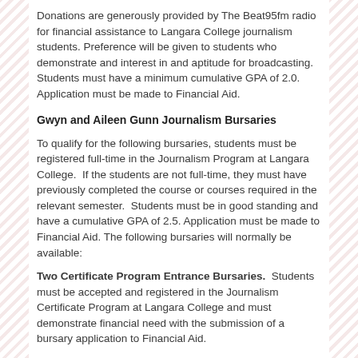Donations are generously provided by The Beat95fm radio for financial assistance to Langara College journalism students. Preference will be given to students who demonstrate and interest in and aptitude for broadcasting. Students must have a minimum cumulative GPA of 2.0. Application must be made to Financial Aid.
Gwyn and Aileen Gunn Journalism Bursaries
To qualify for the following bursaries, students must be registered full-time in the Journalism Program at Langara College.  If the students are not full-time, they must have previously completed the course or courses required in the relevant semester.  Students must be in good standing and have a cumulative GPA of 2.5. Application must be made to Financial Aid. The following bursaries will normally be available:
Two Certificate Program Entrance Bursaries.  Students must be accepted and registered in the Journalism Certificate Program at Langara College and must demonstrate financial need with the submission of a bursary application to Financial Aid.
Two Diploma Program Entrance Bursaries.  Students must be accepted and registered in the Journalism Diploma Program at Langara College and must demonstrate financial need with the